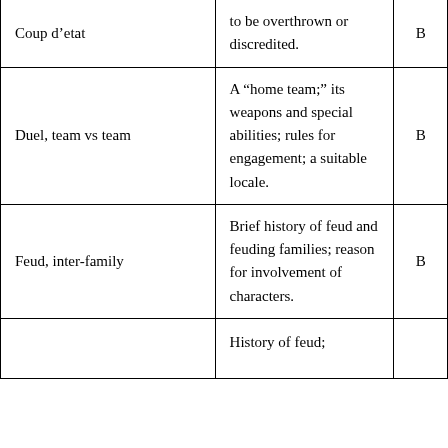| Coup d’etat | to be overthrown or discredited. | B |
| Duel, team vs team | A “home team;” its weapons and special abilities; rules for engagement; a suitable locale. | B |
| Feud, inter-family | Brief history of feud and feuding families; reason for involvement of characters. | B |
|  | History of feud; |  |